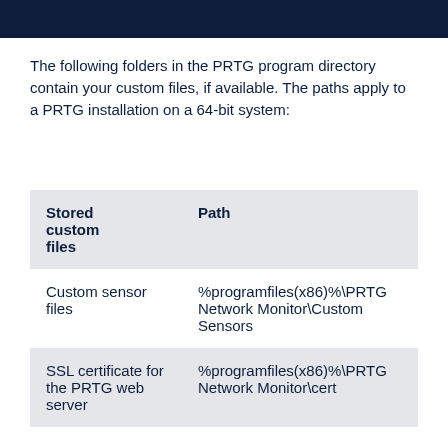The following folders in the PRTG program directory contain your custom files, if available. The paths apply to a PRTG installation on a 64-bit system:
| Stored custom files | Path |
| --- | --- |
| Custom sensor files | %programfiles(x86)%\PRTG Network Monitor\Custom Sensors |
| SSL certificate for the PRTG web server | %programfiles(x86)%\PRTG Network Monitor\cert |